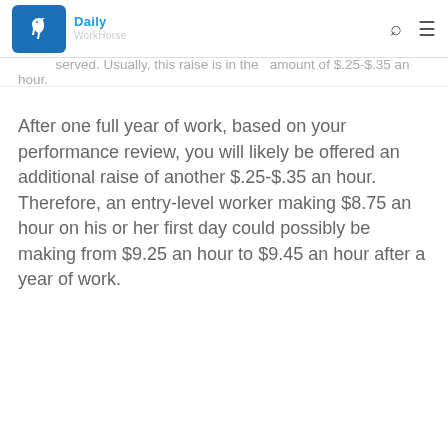Daily WorkHorse
served. Usually, this raise is in the amount of $.25-$.35 an hour.
After one full year of work, based on your performance review, you will likely be offered an additional raise of another $.25-$.35 an hour. Therefore, an entry-level worker making $8.75 an hour on his or her first day could possibly be making from $9.25 an hour to $9.45 an hour after a year of work.